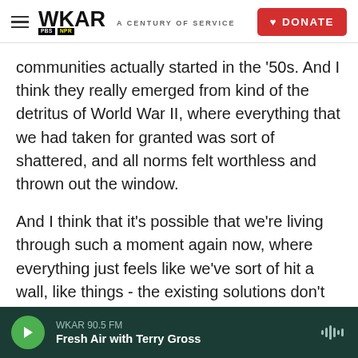WKAR A CENTURY OF SERVICE | DONATE
communities actually started in the '50s. And I think they really emerged from kind of the detritus of World War II, where everything that we had taken for granted was sort of shattered, and all norms felt worthless and thrown out the window.
And I think that it's possible that we're living through such a moment again now, where everything just feels like we've sort of hit a wall, like things - the existing solutions don't really work. And I certainly see signs on all sides of the political spectrum of casting about for sort of dramatic reinvention and dramatic change. And I understand
WKAR 90.5 FM
Fresh Air with Terry Gross